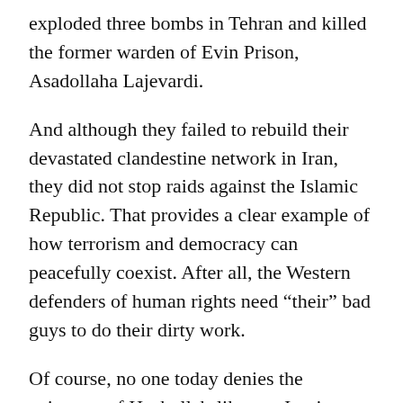exploded three bombs in Tehran and killed the former warden of Evin Prison, Asadollaha Lajevardi.
And although they failed to rebuild their devastated clandestine network in Iran, they did not stop raids against the Islamic Republic. That provides a clear example of how terrorism and democracy can peacefully coexist. After all, the Western defenders of human rights need “their” bad guys to do their dirty work.
Of course, no one today denies the existence of Hezbollah-like pro-Iranian groups that fight their enemies using methods that are clearly not those of Mahatma Gandhi. As far as Iran itself is concerned, its approach looks more honest than that of the West. At least, unlike the Western countries, it does not array